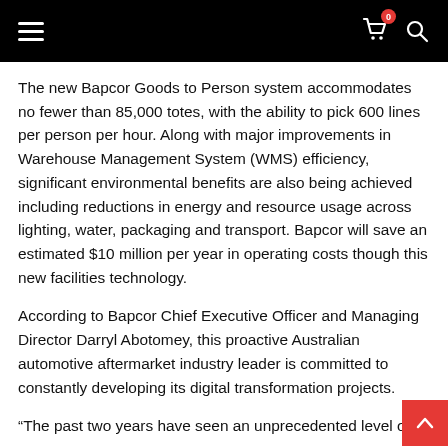Navigation bar with hamburger menu, cart icon with badge 0, and search icon
The new Bapcor Goods to Person system accommodates no fewer than 85,000 totes, with the ability to pick 600 lines per person per hour. Along with major improvements in Warehouse Management System (WMS) efficiency, significant environmental benefits are also being achieved including reductions in energy and resource usage across lighting, water, packaging and transport. Bapcor will save an estimated $10 million per year in operating costs though this new facilities technology.
According to Bapcor Chief Executive Officer and Managing Director Darryl Abotomey, this proactive Australian automotive aftermarket industry leader is committed to constantly developing its digital transformation projects.
“The past two years have seen an unprecedented level of